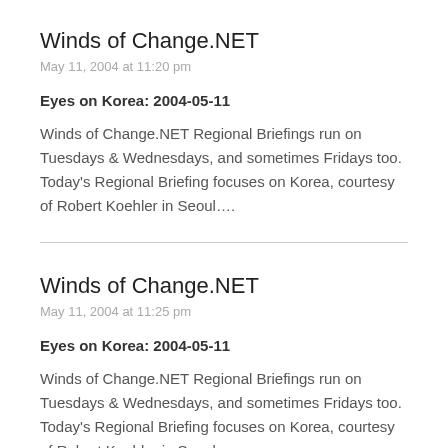Winds of Change.NET
May 11, 2004 at 11:20 pm
Eyes on Korea: 2004-05-11
Winds of Change.NET Regional Briefings run on Tuesdays & Wednesdays, and sometimes Fridays too. Today's Regional Briefing focuses on Korea, courtesy of Robert Koehler in Seoul….
Winds of Change.NET
May 11, 2004 at 11:25 pm
Eyes on Korea: 2004-05-11
Winds of Change.NET Regional Briefings run on Tuesdays & Wednesdays, and sometimes Fridays too. Today's Regional Briefing focuses on Korea, courtesy of Robert Koehler in Seoul…